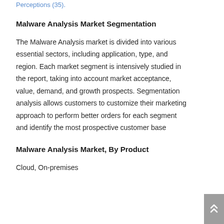Perceptions (35).
Malware Analysis Market Segmentation
The Malware Analysis market is divided into various essential sectors, including application, type, and region. Each market segment is intensively studied in the report, taking into account market acceptance, value, demand, and growth prospects. Segmentation analysis allows customers to customize their marketing approach to perform better orders for each segment and identify the most prospective customer base
Malware Analysis Market, By Product
Cloud, On-premises